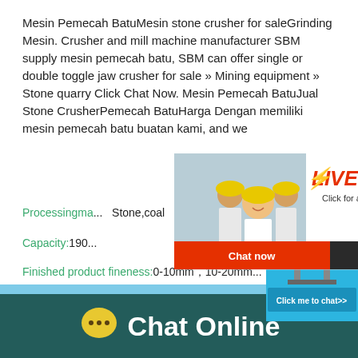Mesin Pemecah BatuMesin stone crusher for saleGrinding Mesin. Crusher and mill machine manufacturer SBM supply mesin pemecah batu, SBM can offer single or double toggle jaw crusher for sale » Mining equipment » Stone quarry Click Chat Now. Mesin Pemecah BatuJual Stone CrusherPemecah BatuHarga Dengan memiliki mesin pemecah batu buatan kami, and we
Processingma... Stone,coal
Capacity:190...
Finished product fineness:0-10mm，10-20mm...
[Figure (screenshot): Live Chat popup overlay with a woman and workers in hard hats, red LIVE CHAT text, 'Click for a Free Consultation', Chat now and Chat later buttons]
[Figure (screenshot): Right sidebar widget with 'hour online' text, machine image, and 'Click me to chat>>' button on cyan blue background]
[Figure (infographic): Dark teal footer bar with yellow speech bubble icon and white 'Chat Online' text]